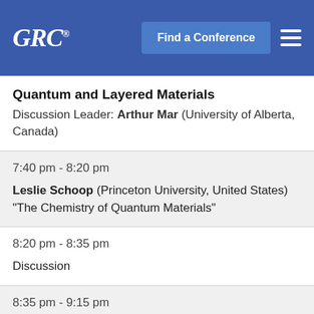GRC® Find a Conference [menu]
Quantum and Layered Materials
Discussion Leader: Arthur Mar (University of Alberta, Canada)
7:40 pm - 8:20 pm
Leslie Schoop (Princeton University, United States) "The Chemistry of Quantum Materials"
8:20 pm - 8:35 pm
Discussion
8:35 pm - 9:15 pm
Andrew Grosvenor (University of Saskatchewan, Canada)